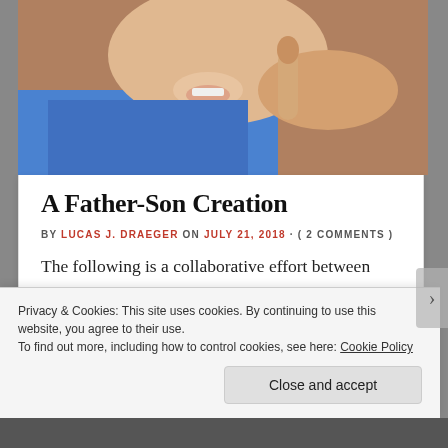[Figure (photo): Top portion of a photo showing a child and an adult, child's mouth open, adult's finger pointing near child's chin, child wearing blue jacket]
A Father-Son Creation
BY LUCAS J. DRAEGER ON JULY 21, 2018 · ( 2 COMMENTS )
The following is a collaborative effort between myself and my ten-year-old son. The initial concept was his. He was two pages in when he said he'd written himself into a corner. I was impressed with what he'd come up with and didn't want to see the story wasted, [...]
Privacy & Cookies: This site uses cookies. By continuing to use this website, you agree to their use.
To find out more, including how to control cookies, see here: Cookie Policy
Close and accept